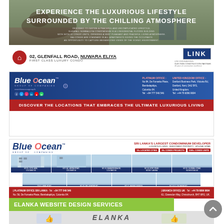[Figure (photo): Glenfall Nuwara Eliya luxury condo advertisement with wildlife background and building imagery. Title: EXPERIENCE THE LUXURIOUS LIFESTYLE SURROUNDED BY THE CHILLING ATMOSPHERE. Address: 02, Glenfall Road, Nuwara Eliya, First Class Luxury Condo. Partner: LINK Engineering.]
[Figure (infographic): Blue Ocean Group of Companies advertisement banner. Includes logo, social media icons, website, platinum office and UK office contact details. Tagline: DISCOVER THE LOCATIONS THAT EMBRACES THE ULTIMATE LUXURIOUS LIVING.]
[Figure (infographic): Blue Ocean Group of Companies large advertisement. Sri Lanka's Largest Condominium Developer. Luxurious Living + Investment Property + Holiday Home. Shows multiple building projects: No 05 15th Lane Colombo 03, No 11A Lavinia Road Colombo 04, No 23 Ramakrishna Rd Colombo 06, No 20 Hory Road Mount Lavinia, No 02 Glenfall Road Nugegoda 5/18, 219/75 Park Road Colombo 05, No 30 Galleshore Rd Colombo 05, No 71 Rakmey Avenue Mount Lavinia, No 241/2 De Saram Rd Mount Lavinia. Footer: PLATINUM OFFICE SRI LANKA Tel +54 777 546 546; BRANCH OFFICE UK Tel +44 79 6096 9694.]
ELANKA WEBSITE DESIGN SERVICES
[Figure (photo): Elanka website design services preview with thumbs up icons and ELANKA text logo]